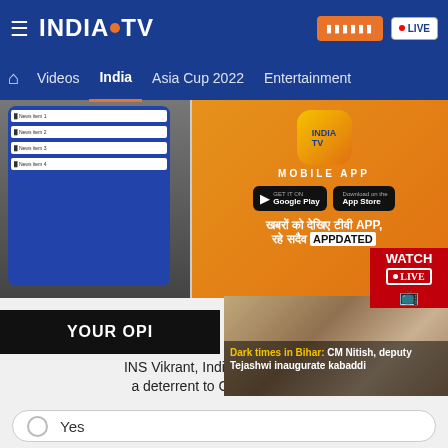INDIA TV — header navigation bar
[Figure (screenshot): India TV mobile app advertisement banner showing a phone with the app, Google Play and App Store download buttons, and Hindi text about updating the app. An orange background with India TV logo.]
[Figure (photo): News thumbnail: Dark times in Bihar: CM Nitish, deputy Tejashwi inaugurate kabaddi]
YOUR OPI
INS Vikrant, India's first indige... a deterrent to China, Pakistan
Yes